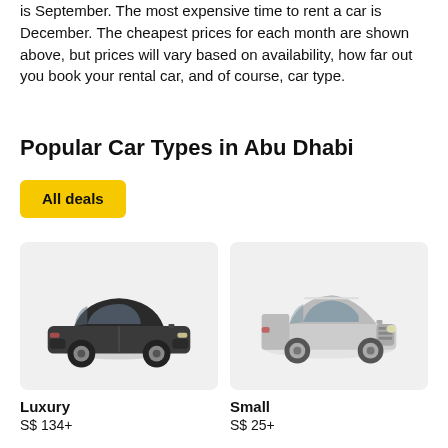is September. The most expensive time to rent a car is December. The cheapest prices for each month are shown above, but prices will vary based on availability, how far out you book your rental car, and of course, car type.
Popular Car Types in Abu Dhabi
All deals
[Figure (photo): Light gray card with a dark gray luxury sedan car illustration]
[Figure (photo): Light gray card with a silver small hatchback/Mini car illustration]
Luxury
S$ 134+
Small
S$ 25+